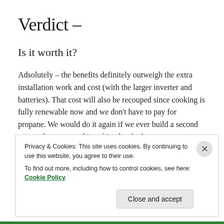Verdict –
Is it worth it?
Adsolutely – the benefits definitely outweigh the extra installation work and cost (with the larger inverter and batteries). That cost will also be recouped since cooking is fully renewable now and we don't have to pay for propane. We would do it again if we ever build a second van, and recommend it to friends who have vans.
Privacy & Cookies: This site uses cookies. By continuing to use this website, you agree to their use.
To find out more, including how to control cookies, see here: Cookie Policy